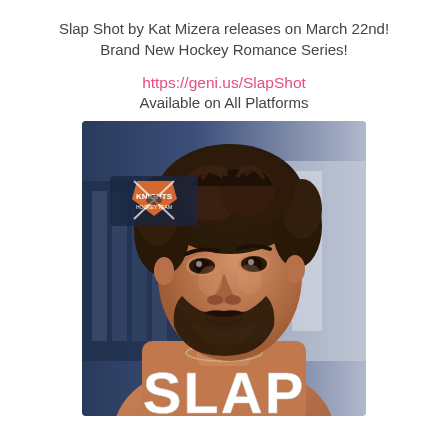Slap Shot by Kat Mizera releases on March 22nd!
Brand New Hockey Romance Series!
https://geni.us/SlapShot
Available on All Platforms
[Figure (photo): Book cover for 'Slap Shot' by Kat Mizera showing a close-up of a rugged bearded man with curly dark hair, shirtless with a chain necklace, in front of a blurred hockey locker room background. A 'Knights' hockey team logo appears in the upper left. The word 'SLAP' appears in large bold white text at the bottom of the cover.]